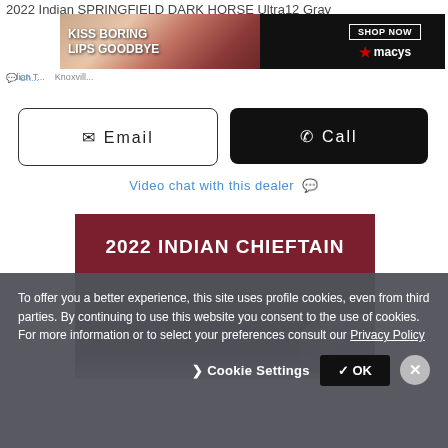2022 Indian SPRINGFIELD DARK HORSE Ultra12 Gray
Indian T... Knoxvill...
[Figure (photo): Macy's advertisement banner: KISS BORING LIPS GOODBYE with a woman's lips and SHOP NOW button with Macy's star logo]
Ch...
Email
Call
Video chat with this dealer 💬
[Figure (photo): 2022 Indian Chieftain advertisement with dark red header and rocky landscape background with riders]
To offer you a better experience, this site uses profile cookies, even from third parties. By continuing to use this website you consent to the use of cookies. For more information or to select your preferences consult our Privacy Policy
Cookie Settings
✓ OK